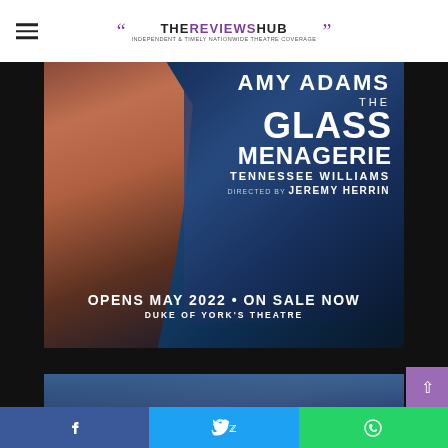THE REVIEWS HUB — Independent theatre coverage
[Figure (photo): Promotional poster for The Glass Menagerie at Duke of York's Theatre. Amy Adams is shown in a blue-toned composite portrait. Text reads: AMY ADAMS / THE GLASS MENAGERIE / TENNESSEE WILLIAMS / DIRECTED BY JEREMY HERRIN / OPENS MAY 2022 · ON SALE NOW / DUKE OF YORK'S THEATRE]
[Figure (photo): Blue-toned abstract background image, partially visible, likely a production photo]